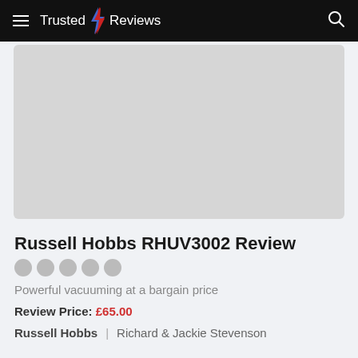Trusted Reviews
[Figure (photo): Product image placeholder – grey rectangle for Russell Hobbs RHUV3002 vacuum cleaner]
Russell Hobbs RHUV3002 Review
Powerful vacuuming at a bargain price
Review Price: £65.00
Russell Hobbs | Richard & Jackie Stevenson